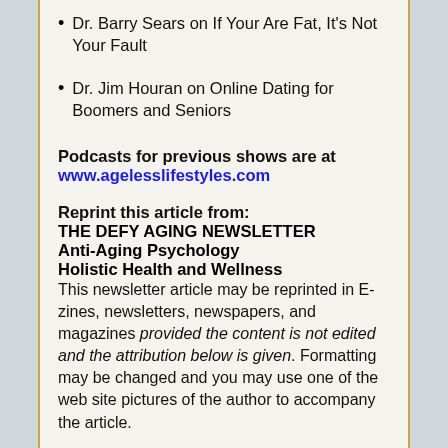Dr. Barry Sears on If Your Are Fat, It's Not Your Fault
Dr. Jim Houran on Online Dating for Boomers and Seniors
Podcasts for previous shows are at www.agelesslifestyles.com
Reprint this article from:
THE DEFY AGING NEWSLETTER
Anti-Aging Psychology
Holistic Health and Wellness
This newsletter article may be reprinted in E-zines, newsletters, newspapers, and magazines provided the content is not edited and the attribution below is given. Formatting may be changed and you may use one of the web site pictures of the author to accompany the article.